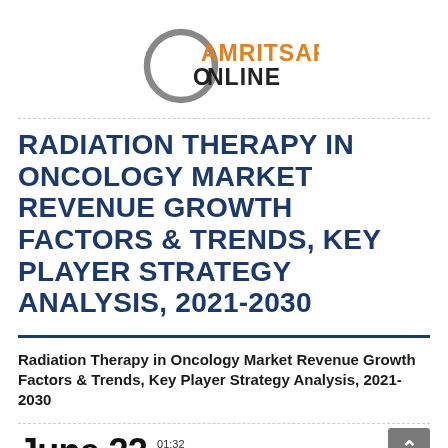[Figure (logo): Amritsar Online logo — circular ring with 'AMRITSAR' in bold orange and 'ONLINE' in bold dark gray]
RADIATION THERAPY IN ONCOLOGY MARKET REVENUE GROWTH FACTORS & TRENDS, KEY PLAYER STRATEGY ANALYSIS, 2021-2030
Radiation Therapy in Oncology Market Revenue Growth Factors & Trends, Key Player Strategy Analysis, 2021-2030
June 22  01:32  2022